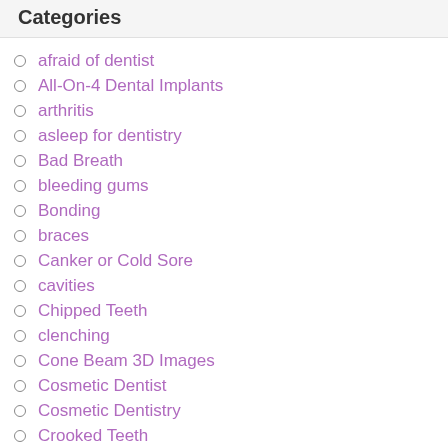Categories
afraid of dentist
All-On-4 Dental Implants
arthritis
asleep for dentistry
Bad Breath
bleeding gums
Bonding
braces
Canker or Cold Sore
cavities
Chipped Teeth
clenching
Cone Beam 3D Images
Cosmetic Dentist
Cosmetic Dentistry
Crooked Teeth
crowded crooked teeth
Crown & Bridge
Crowns
dental clinic
dental emergency